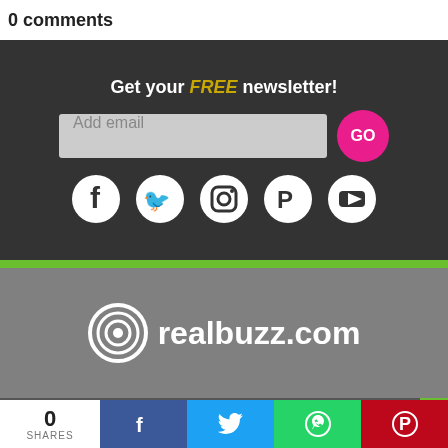0 comments
Get your FREE newsletter!
Add email
GO
[Figure (logo): Social media icons: Facebook, Twitter, Instagram, Pinterest, YouTube]
[Figure (logo): realbuzz.com logo with circular target icon]
Download the new 'myrealbuzz' app and start tracking!
TOP
0 SHARES
[Figure (infographic): Social share bar: Facebook, Twitter, WhatsApp, Pinterest]